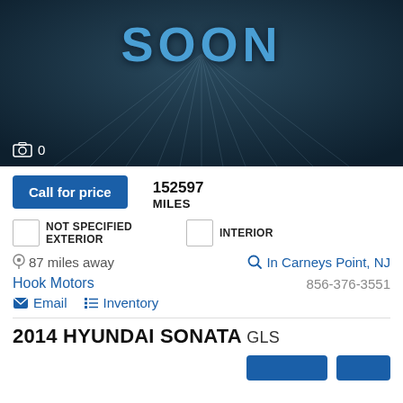[Figure (photo): Dark teal/blue placeholder car image with 'SOON' text in large blue letters and light rays. Camera icon with '0' in bottom-left corner.]
Call for price
152597
MILES
NOT SPECIFIED EXTERIOR
INTERIOR
87 miles away
In Carneys Point, NJ
Hook Motors
856-376-3551
Email   Inventory
2014 HYUNDAI SONATA GLS